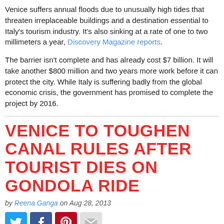Venice suffers annual floods due to unusually high tides that threaten irreplaceable buildings and a destination essential to Italy's tourism industry. It's also sinking at a rate of one to two millimeters a year, Discovery Magazine reports.
The barrier isn't complete and has already cost $7 billion. It will take another $800 million and two years more work before it can protect the city. While Italy is suffering badly from the global economic crisis, the government has promised to complete the project by 2016.
VENICE TO TOUGHEN CANAL RULES AFTER TOURIST DIES ON GONDOLA RIDE
by Reena Ganga on Aug 28, 2013
[Figure (infographic): Social sharing icons: Twitter (blue), Facebook (dark blue), Pinterest (red), Email (grey)]